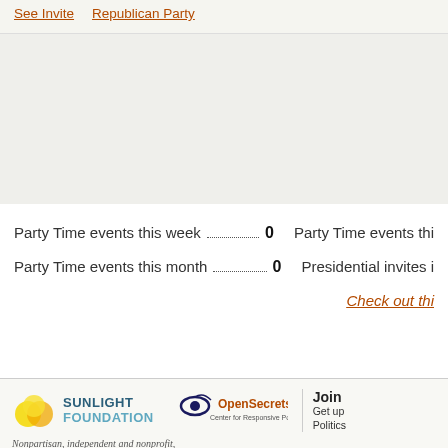See Invite   Republican Party
Party Time events this week . . . . . . . . . . . . . . . . . . . . 0   Party Time events thi
Party Time events this month . . . . . . . . . . . . . . . . . . . 0   Presidential invites i
Check out thi
[Figure (logo): Sunlight Foundation logo with overlapping yellow circles and bold text]
[Figure (logo): OpenSecrets.org - Center for Responsive Politics logo with eye icon]
Join
Get up
Politics
Nonpartisan, independent and nonprofit, the Center for Responsive Politics is the nation's premier research